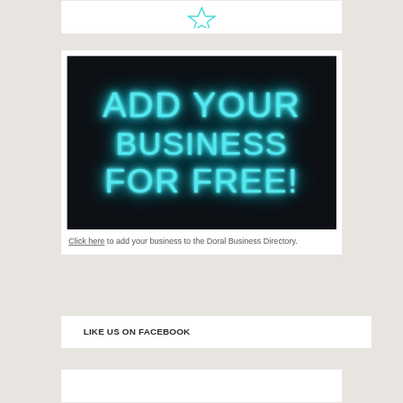[Figure (illustration): Partial white card at top with a star/logo icon, cropped at page top]
[Figure (photo): Neon sign on dark brick wall reading ADD YOUR BUSINESS FOR FREE! in glowing cyan neon letters]
Click here to add your business to the Doral Business Directory.
LIKE US ON FACEBOOK